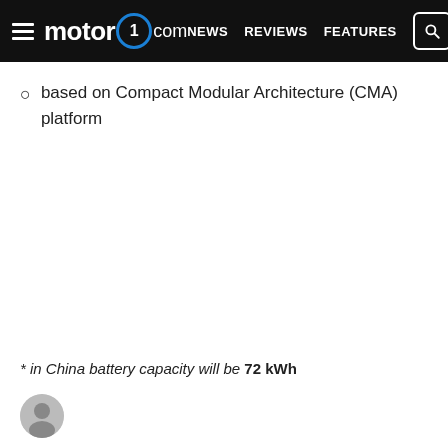motor1.com | NEWS | REVIEWS | FEATURES
based on Compact Modular Architecture (CMA) platform
* in China battery capacity will be 72 kWh